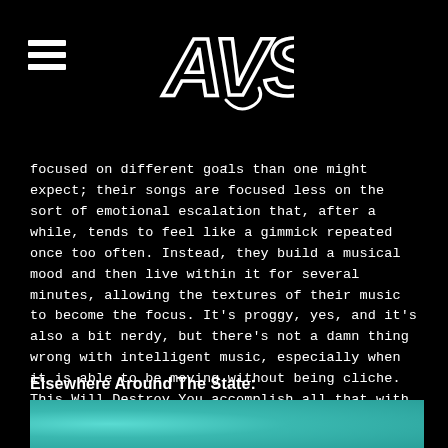AVS logo and hamburger menu
focused on different goals than one might expect; their songs are focused less on the sort of emotional escalation that, after a while, tends to feel like a gimmick repeated once too often. Instead, they build a musical mood and then live within it for several minutes, allowing the textures of their music to become the focus. It’s proggy, yes, and it’s also a bit nerdy, but there’s not a damn thing wrong with intelligent music, especially when it is able to be moving without being cliche. This Will Destroy You accomplish all that with aplomb on their albums, and seeing them pull it off live is sure to be quite the treat.
Elsewhere Around The State:
[Figure (photo): Teal/turquoise textured surface, partially visible at bottom of page]